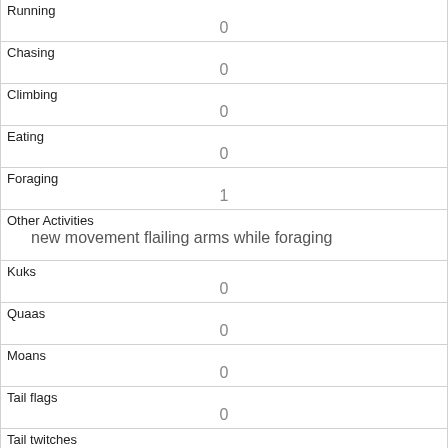| Field | Value |
| --- | --- |
| Running | 0 |
| Chasing | 0 |
| Climbing | 0 |
| Eating | 0 |
| Foraging | 1 |
| Other Activities | new movement flailing arms while foraging |
| Kuks | 0 |
| Quaas | 0 |
| Moans | 0 |
| Tail flags | 0 |
| Tail twitches |  |